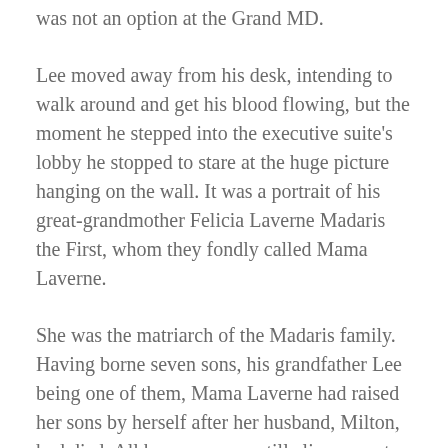was not an option at the Grand MD.
Lee moved away from his desk, intending to walk around and get his blood flowing, but the moment he stepped into the executive suite's lobby he stopped to stare at the huge picture hanging on the wall. It was a portrait of his great-grandmother Felicia Laverne Madaris the First, whom they fondly called Mama Laverne.
She was the matriarch of the Madaris family. Having borne seven sons, his grandfather Lee being one of them, Mama Laverne had raised her sons by herself after her husband, Milton, had died. All her sons were still alive except for Robert, who had been killed in the Vietnam War. Lee's grand-uncle Jake was Laverne's baby boy.
Mama Laverne had insisted that Lee hang this particular picture of her right there on that wall. She'd given the